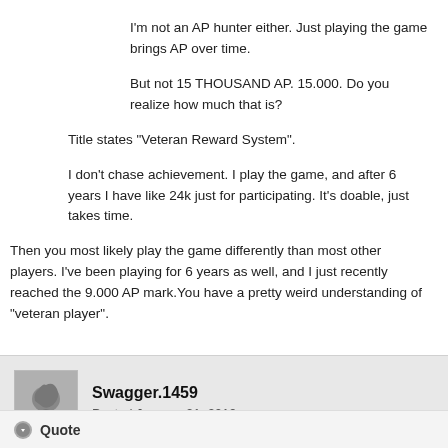I'm not an AP hunter either. Just playing the game brings AP over time.
But not 15 THOUSAND AP. 15.000. Do you realize how much that is?
Title states "Veteran Reward System".
I don't chase achievement. I play the game, and after 6 years I have like 24k just for participating. It's doable, just takes time.
Then you most likely play the game differently than most other players. I've been playing for 6 years as well, and I just recently reached the 9.000 AP mark.You have a pretty weird understanding of "veteran player".
Swagger.1459
Posted January 21, 2019
Quote